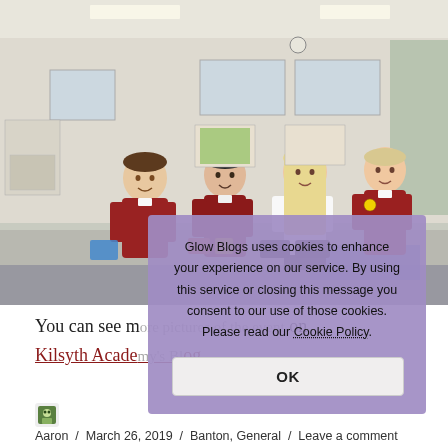[Figure (photo): Four school children in red uniforms standing at a table in a classroom. Two boys on the left and two girls on the right. They appear to be at a STEM or robotics event with objects on the table in front of them.]
Glow Blogs uses cookies to enhance your experience on our service. By using this service or closing this message you consent to our use of those cookies. Please read our Cookie Policy.
You can see more pictures of the event on Kilsyth Academy's Blog.
Aaron / March 26, 2019 / Banton, General / Leave a comment